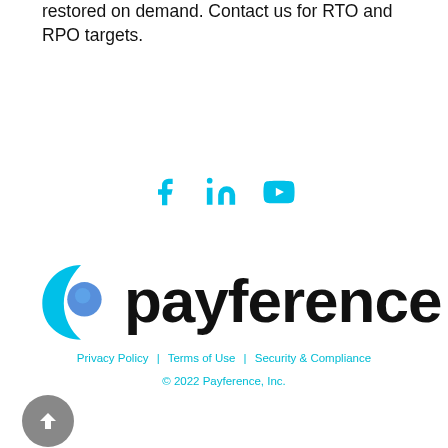restored on demand. Contact us for RTO and RPO targets.
[Figure (other): Social media icons: Facebook, LinkedIn, YouTube in cyan/turquoise color]
[Figure (logo): Payference logo with cyan crescent/swirl icon and black bold text 'payference']
Privacy Policy | Terms of Use | Security & Compliance
© 2022 Payference, Inc.